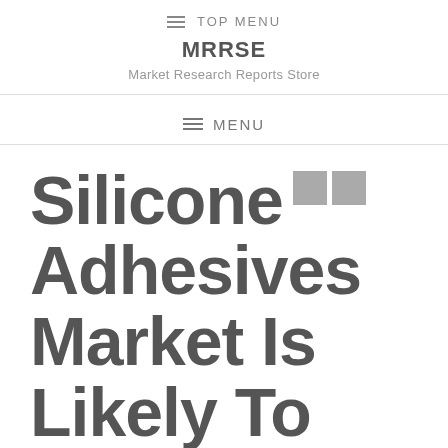≡ TOP MENU
MRRSE
Market Research Reports Store
≡ MENU
Silicone Adhesives Market Is Likely To Reach US$